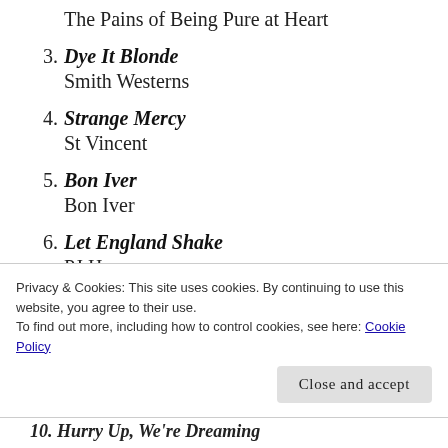The Pains of Being Pure at Heart
3. Dye It Blonde
Smith Westerns
4. Strange Mercy
St Vincent
5. Bon Iver
Bon Iver
6. Let England Shake
PJ Harvey
7. Humor Risk
Cass McCombs
8. [partially visible title]
Privacy & Cookies: This site uses cookies. By continuing to use this website, you agree to their use.
To find out more, including how to control cookies, see here: Cookie Policy
Close and accept
10. Hurry Up, We're Dreaming